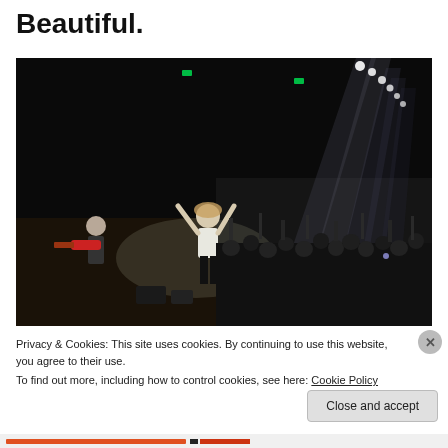Beautiful.
[Figure (photo): Concert photo showing a performer on stage with arms raised, bright stage lights beaming down, and a large crowd in the foreground with hands raised. Another guitarist visible on the left side of the stage.]
Privacy & Cookies: This site uses cookies. By continuing to use this website, you agree to their use.
To find out more, including how to control cookies, see here: Cookie Policy
Close and accept